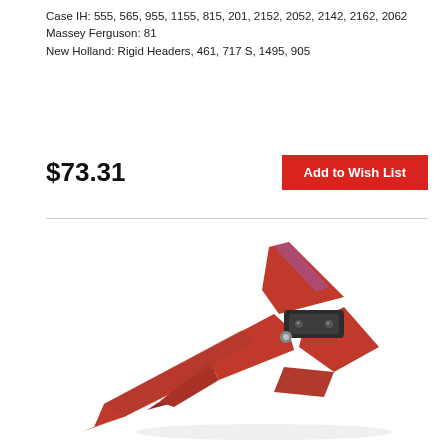Case IH: 555, 565, 955, 1155, 815, 201, 2152, 2052, 2142, 2162, 2062
Massey Ferguson: 81
New Holland: Rigid Headers, 461, 717 S, 1495, 905
$73.31
Add to Wish List
[Figure (photo): A red metal agricultural divider/header part with a pointed tip and a black clamp mechanism, photographed on a white background.]